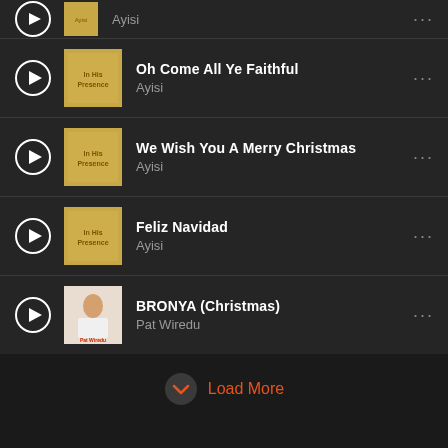Oh Come All Ye Faithful - Ayisi
We Wish You A Merry Christmas - Ayisi
Feliz Navidad - Ayisi
BRONYA (Christmas) - Pat Wiredu
Load More